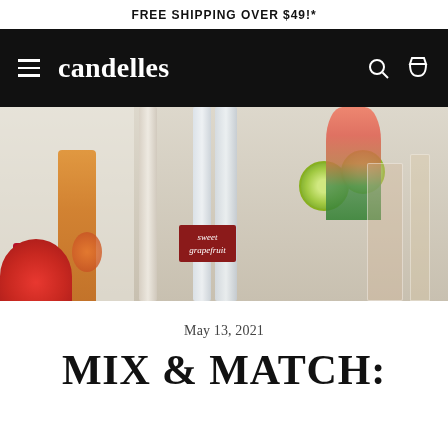FREE SHIPPING OVER $49!*
[Figure (logo): Candelles website navigation bar with hamburger menu, brand name 'candelles', search icon and cart icon on black background]
[Figure (photo): Cocktail scene with bottles, grapefruit, lime slices, a red can, flowers in a vase, and a candle labeled 'sweet grapefruit']
May 13, 2021
MIX & MATCH: